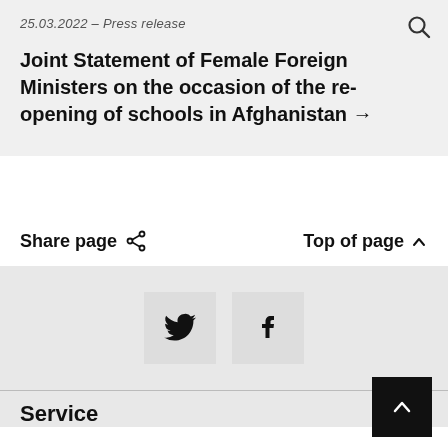25.03.2022 – Press release
Joint Statement of Female Foreign Ministers on the occasion of the re-opening of schools in Afghanistan →
Share page
Top of page
[Figure (other): Social media share buttons: Twitter (bird icon) and Facebook (f icon)]
Service